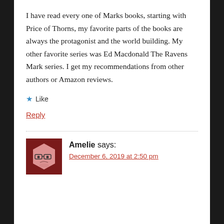I have read every one of Marks books, starting with Price of Thorns, my favorite parts of the books are always the protagonist and the world building. My other favorite series was Ed Macdonald The Ravens Mark series. I get my recommendations from other authors or Amazon reviews.
★ Like
Reply
Amelie says:
December 6, 2019 at 2:50 pm